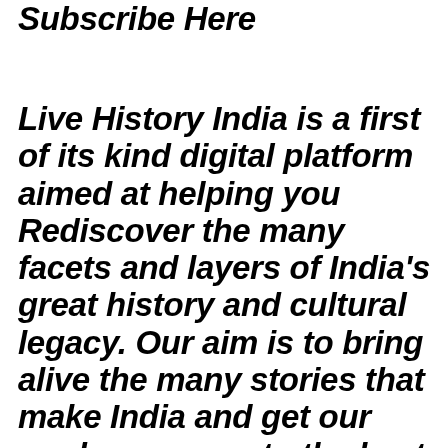YouTube Channel. Please Subscribe Here
Live History India is a first of its kind digital platform aimed at helping you Rediscover the many facets and layers of India's great history and cultural legacy. Our aim is to bring alive the many stories that make India and get our readers access to the best research and work being done on the subject. If you have any